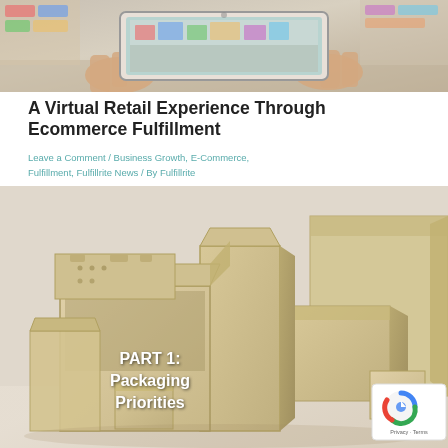[Figure (photo): Hands holding a tablet/iPad photographing a retail store interior with colorful merchandise]
A Virtual Retail Experience Through Ecommerce Fulfillment
Leave a Comment / Business Growth, E-Commerce, Fulfillment, Fulfillrite News / By Fulfillrite
[Figure (photo): Cardboard boxes arranged in a scene with overlay text PART 1: Packaging Priorities. A reCAPTCHA badge is visible in the bottom right corner.]